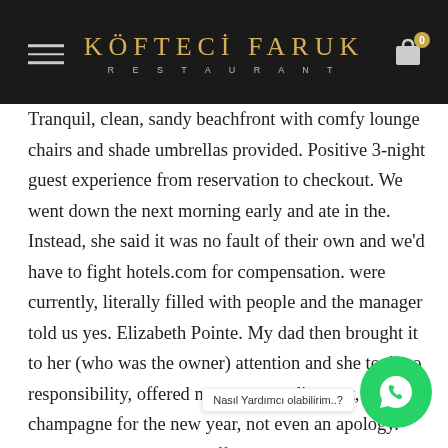KÖFTECI FARUK RESTAURANT
Tranquil, clean, sandy beachfront with comfy lounge chairs and shade umbrellas provided. Positive 3-night guest experience from reservation to checkout. We went down the next morning early and ate in the. Instead, she said it was no fault of their own and we'd have to fight hotels.com for compensation. were currently, literally filled with people and the manager told us yes. Elizabeth Pointe. My dad then brought it to her (who was the owner) attention and she took no responsibility, offered no monetary discount, no free champagne for the new year, not even an apology. Elizabeth Pointe Lodge offers 25 air-conditioned accommodations with DVD players and complimentary newspapers. Guests can enjoy free breakfast and an site restaurant during the [Nasıl Yardımcı olabilirim..?] we were hoping to speak to the owner of the hotel to get some monetary compensation for the inconvenience and